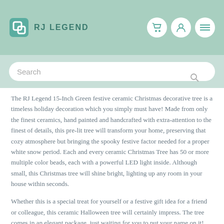RJ LEGEND
The RJ Legend 15-Inch Green festive ceramic Christmas decorative tree is a timeless holiday decoration which you simply must have! Made from only the finest ceramics, hand painted and handcrafted with extra-attention to the finest of details, this pre-lit tree will transform your home, preserving that cozy atmosphere but bringing the spooky festive factor needed for a proper white snow period. Each and every ceramic Christmas Tree has 50 or more multiple color beads, each with a powerful LED light inside. Although small, this Christmas tree will shine bright, lighting up any room in your house within seconds.
Whether this is a special treat for yourself or a festive gift idea for a friend or colleague, this ceramic Halloween tree will certainly impress. The tree comes in an elegant package, just waiting for you to put your name on it!